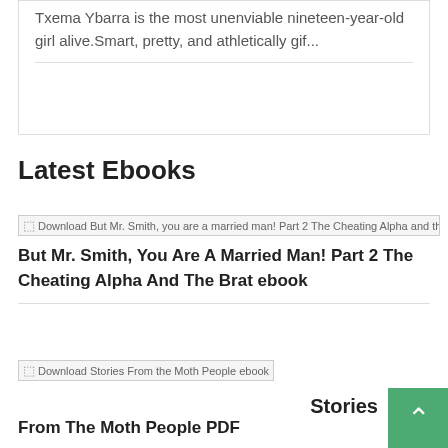Txema Ybarra is the most unenviable nineteen-year-old girl alive.Smart, pretty, and athletically gif...
Latest Ebooks
[Figure (other): Broken image placeholder for Download But Mr. Smith, you are a married man! Part 2 The Cheating Alpha and the Brat PDF]
But Mr. Smith, You Are A Married Man! Part 2 The Cheating Alpha And The Brat ebook
[Figure (other): Broken image placeholder for Download Stories From the Moth People ebook]
Stories From The Moth People PDF